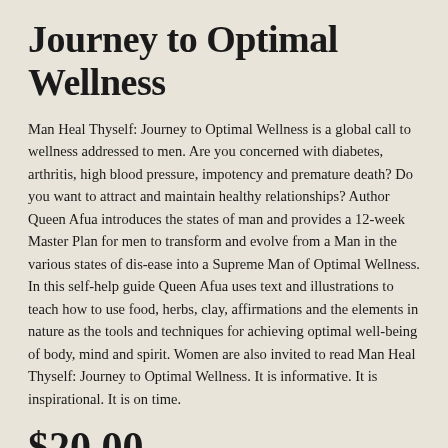Journey to Optimal Wellness
Man Heal Thyself: Journey to Optimal Wellness is a global call to wellness addressed to men. Are you concerned with diabetes, arthritis, high blood pressure, impotency and premature death? Do you want to attract and maintain healthy relationships? Author Queen Afua introduces the states of man and provides a 12-week Master Plan for men to transform and evolve from a Man in the various states of dis-ease into a Supreme Man of Optimal Wellness. In this self-help guide Queen Afua uses text and illustrations to teach how to use food, herbs, clay, affirmations and the elements in nature as the tools and techniques for achieving optimal well-being of body, mind and spirit. Women are also invited to read Man Heal Thyself: Journey to Optimal Wellness. It is informative. It is inspirational. It is on time.
$20.00